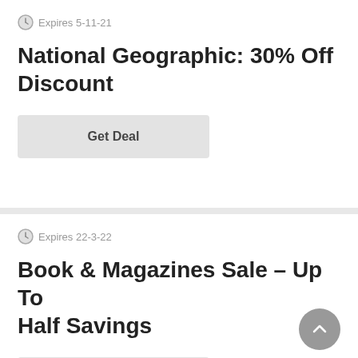Expires 5-11-21
National Geographic: 30% Off Discount
Get Deal
Expires 22-3-22
Book & Magazines Sale – Up To Half Savings
Get Deal